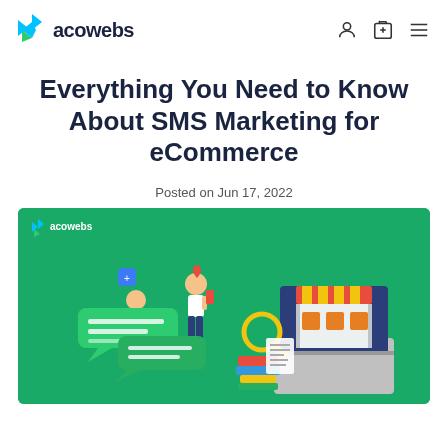acowebs
Everything You Need to Know About SMS Marketing for eCommerce
Posted on Jun 17, 2022
[Figure (illustration): Hero banner image on green background showing acowebs logo, two people exchanging SMS messages with speech bubbles on left, and a laptop displaying a shop front with a magnifying glass and books on right.]